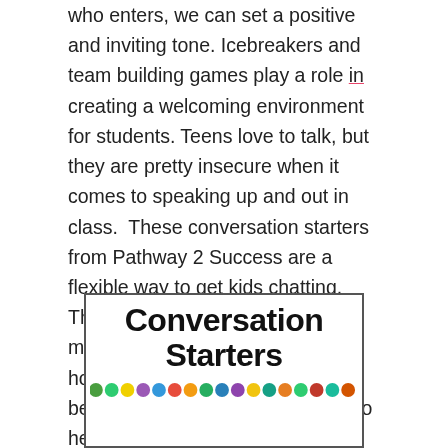who enters, we can set a positive and inviting tone. Icebreakers and team building games play a role in creating a welcoming environment for students. Teens love to talk, but they are pretty insecure when it comes to speaking up and out in class.  These conversation starters from Pathway 2 Success are a flexible way to get kids chatting.  The 170  task cards are the ideal mix of questions regarding self, home, friends, school, family, and beliefs. They would be awesome to help students share information, open up, and begin to form positive relationships.
[Figure (illustration): A card with bold black text reading 'Conversation Starters' above a row of colorful dots in green, yellow, purple, and other colors, with a decorative border.]